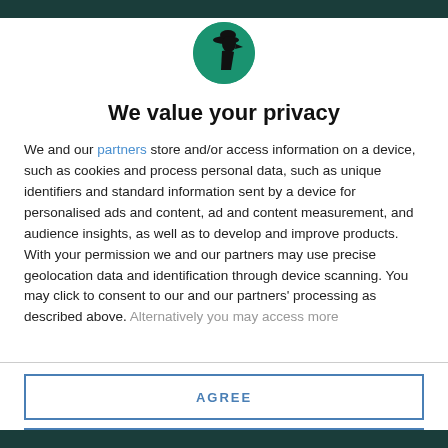[Figure (logo): Circular green logo with a black silhouette of a figure (person with hat) facing right]
We value your privacy
We and our partners store and/or access information on a device, such as cookies and process personal data, such as unique identifiers and standard information sent by a device for personalised ads and content, ad and content measurement, and audience insights, as well as to develop and improve products. With your permission we and our partners may use precise geolocation data and identification through device scanning. You may click to consent to our and our partners' processing as described above. Alternatively you may access more
AGREE
MORE OPTIONS